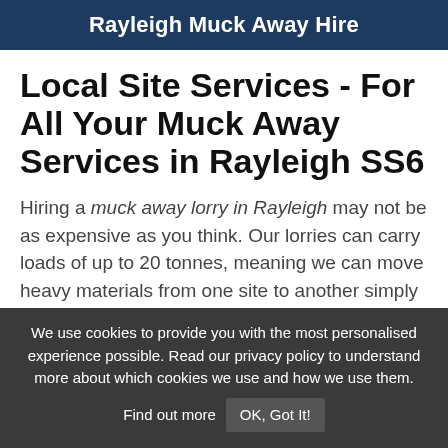Rayleigh Muck Away Hire
Local Site Services - For All Your Muck Away Services in Rayleigh SS6
Hiring a muck away lorry in Rayleigh may not be as expensive as you think. Our lorries can carry loads of up to 20 tonnes, meaning we can move heavy materials from one site to another simply and quickly.
We use cookies to provide you with the most personalised experience possible. Read our privacy policy to understand more about which cookies we use and how we use them. Find out more  OK, Got It!